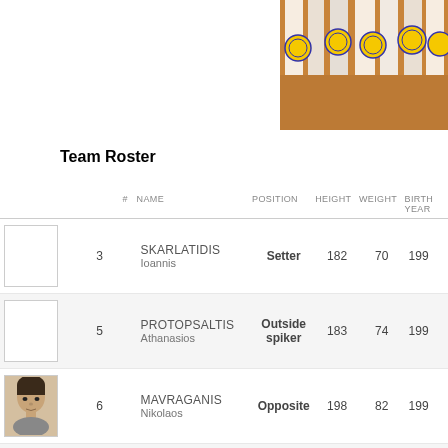[Figure (photo): Volleyball players standing in a row showing their legs and volleyballs on a gym court floor]
Team Roster
| # | NAME | POSITION | HEIGHT | WEIGHT | BIRTH YEAR |
| --- | --- | --- | --- | --- | --- |
| 3 | SKARLATIDIS Ioannis | Setter | 182 | 70 | 199 |
| 5 | PROTOPSALTIS Athanasios | Outside spiker | 183 | 74 | 199 |
| 6 | MAVRAGANIS Nikolaos | Opposite | 198 | 82 | 199 |
| 7 | KONSTANTINIDIS Dimitrios | Libero | 185 | 73 | 199 |